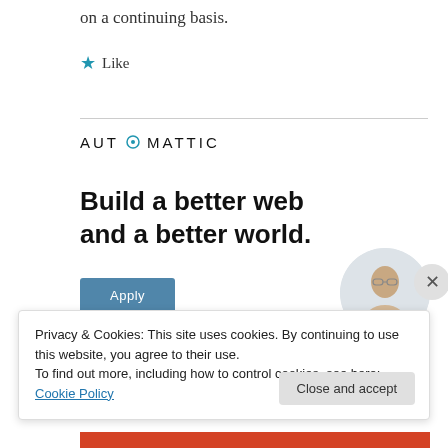on a continuing basis.
★ Like
[Figure (logo): Automattic logo with stylized O in a circle]
Build a better web and a better world.
[Figure (photo): A man with glasses and a beard, thinking, circular crop]
Apply
Privacy & Cookies: This site uses cookies. By continuing to use this website, you agree to their use.
To find out more, including how to control cookies, see here: Cookie Policy
Close and accept